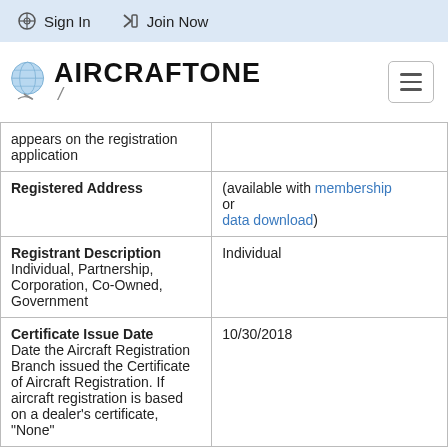Sign In  Join Now
[Figure (logo): AircraftOne logo with globe icon]
| appears on the registration application |  |
| Registered Address | (available with membership or data download) |
| Registrant Description Individual, Partnership, Corporation, Co-Owned, Government | Individual |
| Certificate Issue Date Date the Aircraft Registration Branch issued the Certificate of Aircraft Registration. If aircraft registration is based on a dealer's certificate, "None" | 10/30/2018 |